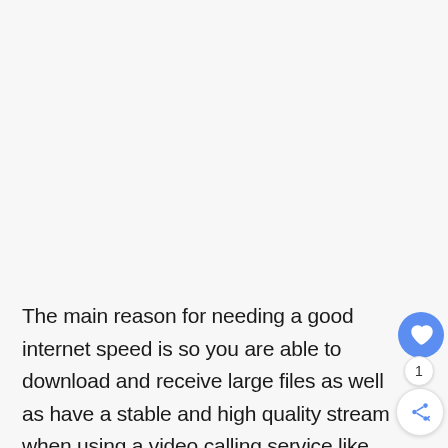The main reason for needing a good internet speed is so you are able to download and receive large files as well as have a stable and high quality stream when using a video calling service like Zoom.